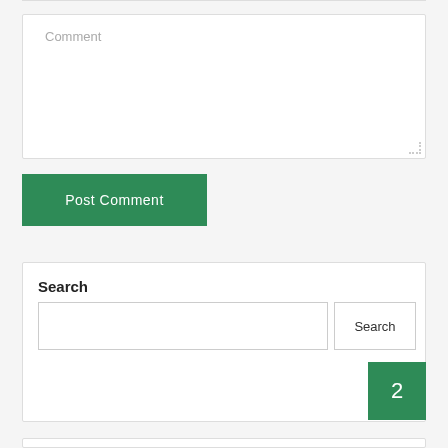Comment
Post Comment
Search
Search
2